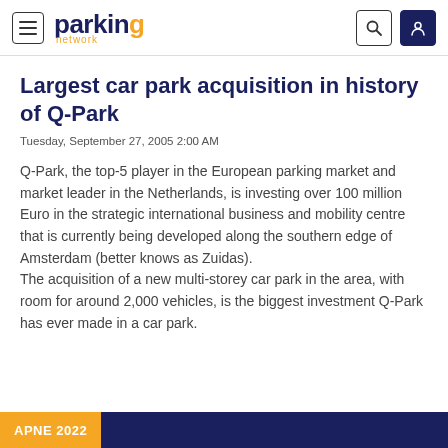parking network
Largest car park acquisition in history of Q-Park
Tuesday, September 27, 2005 2:00 AM
Q-Park, the top-5 player in the European parking market and market leader in the Netherlands, is investing over 100 million Euro in the strategic international business and mobility centre that is currently being developed along the southern edge of Amsterdam (better knows as Zuidas).
The acquisition of a new multi-storey car park in the area, with room for around 2,000 vehicles, is the biggest investment Q-Park has ever made in a car park.
APNE 2022